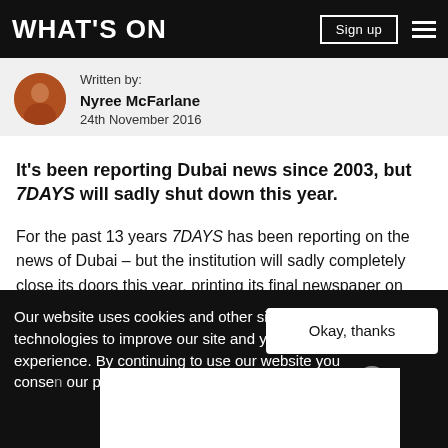WHAT'S ON
Written by:
Nyree McFarlane
24th November 2016
It's been reporting Dubai news since 2003, but 7DAYS will sadly shut down this year.
For the past 13 years 7DAYS has been reporting on the news of Dubai – but the institution will sadly completely close its doors this year, printing its final newspaper on Thursday December 22.
Our website uses cookies and other similar technologies to improve our site and your online experience. By continuing to use our website you consent ... our pr...